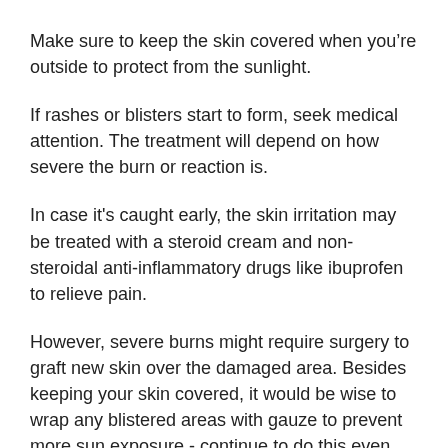Make sure to keep the skin covered when you're outside to protect from the sunlight.
If rashes or blisters start to form, seek medical attention. The treatment will depend on how severe the burn or reaction is.
In case it's caught early, the skin irritation may be treated with a steroid cream and non-steroidal anti-inflammatory drugs like ibuprofen to relieve pain.
However, severe burns might require surgery to graft new skin over the damaged area. Besides keeping your skin covered, it would be wise to wrap any blistered areas with gauze to prevent more sun exposure - continue to do this even after blisters are healed.
Seek medical attention immediately if the sap has got into your eyes.